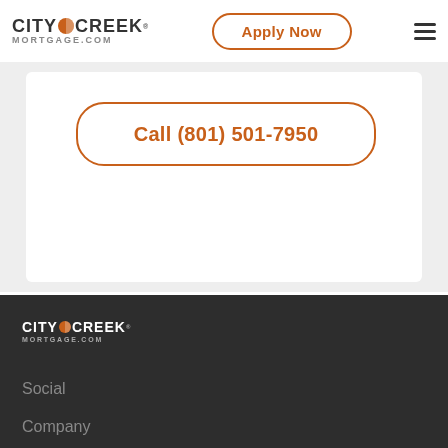City Creek Mortgage.com — Apply Now
Call (801) 501-7950
[Figure (logo): City Creek Mortgage.com footer logo on dark background]
Social
Company